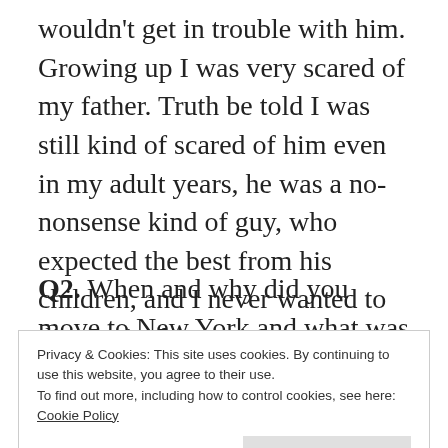wouldn't get in trouble with him. Growing up I was very scared of my father. Truth be told I was still kind of scared of him even in my adult years, he was a no-nonsense kind of guy, who expected the best from his children, and I never wanted to disappoint him.
Q2. When and why did you move to New York and what was the transition like?
Privacy & Cookies: This site uses cookies. By continuing to use this website, you agree to their use.
To find out more, including how to control cookies, see here: Cookie Policy
Close and accept
S was ready to go back home to New Jersey and...